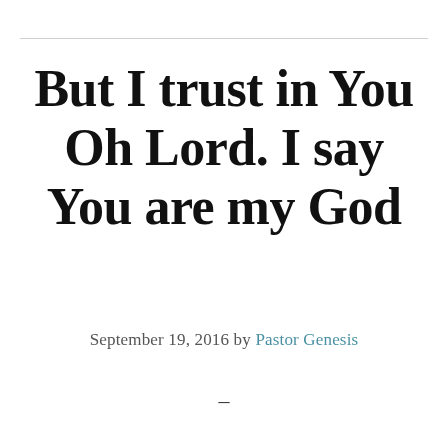But I trust in You Oh Lord. I say You are my God
September 19, 2016 by Pastor Genesis
–